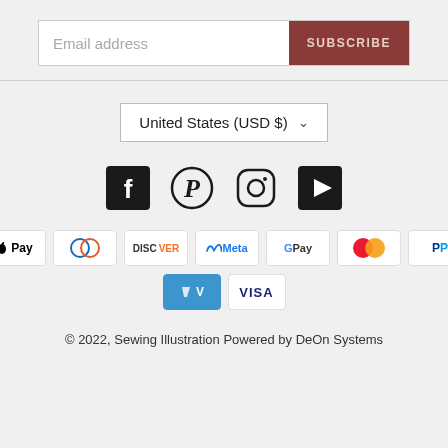[Figure (screenshot): Email subscription bar with 'Email address' placeholder and dark red 'SUBSCRIBE' button]
[Figure (screenshot): Country/currency selector showing 'United States (USD $)' with dropdown arrow]
[Figure (screenshot): Social media icons: Facebook, Pinterest, Instagram, YouTube]
[Figure (screenshot): Payment method badges: Amex, Apple Pay, Diners, Discover, Meta, Google Pay, Mastercard, PayPal, Shop Pay, Venmo, Visa]
© 2022, Sewing Illustration Powered by DeOn Systems